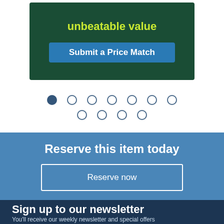[Figure (screenshot): Dark green promotional banner with yellow bold text 'unbeatable value' and a blue 'Submit a Price Match' button]
[Figure (infographic): Carousel navigation dots: one filled dark blue dot followed by multiple empty circle dots in two rows]
Reserve this item today
Reserve now
Sign up to our newsletter
You'll receive our weekly newsletter and special offers